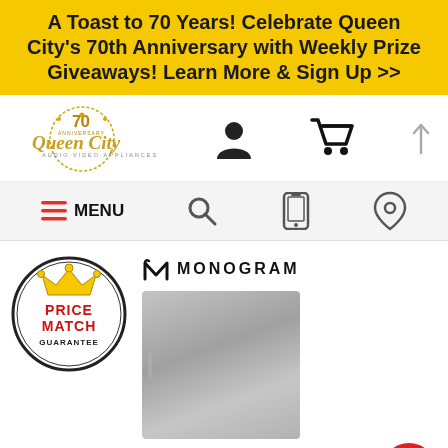A Toast to 70 Years! Celebrate Queen City's 70th Anniversary with Weekly Prize Giveaways! Learn More & Sign Up >>
[Figure (logo): Queen City Audio-Video-Appliances 70th Anniversary logo with gold crown and text]
[Figure (infographic): Navigation bar with hamburger menu (MENU), search icon, mobile icon, and location pin icon]
[Figure (logo): Price Match Guarantee badge with gold crown on black circle, red text]
[Figure (logo): Monogram brand logo with M icon and MONOGRAM text]
[Figure (photo): Stainless steel refrigerator/freezer appliance, tall column style]
[Figure (infographic): Red circular chat button with message icon in bottom right]